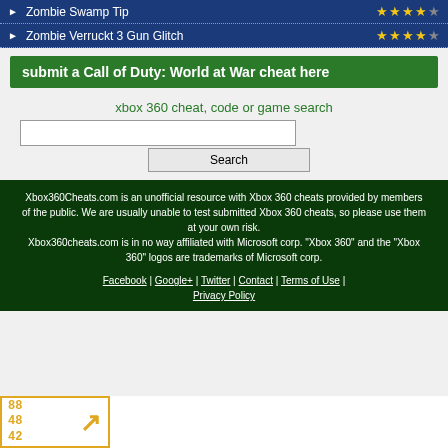Zombie Swamp Tip ★★★★★
Zombie Verruckt 3 Gun Glitch ★★★★☆
submit a Call of Duty: World at War cheat here
xbox 360 cheat, code or game search
Search (input box and button)
Xbox360Cheats.com is an unofficial resource with Xbox 360 cheats provided by members of the public. We are usually unable to test submitted Xbox 360 cheats, so please use them at your own risk. Xbox360cheats.com is in no way affiliated with Microsoft corp. "Xbox 360" and the "Xbox 360" logos are trademarks of Microsoft corp. Facebook | Google+ | Twitter | Contact | Terms of Use | Privacy Policy
[Figure (logo): Orange-bordered badge with numbers 88 48 42 and an arrow icon]